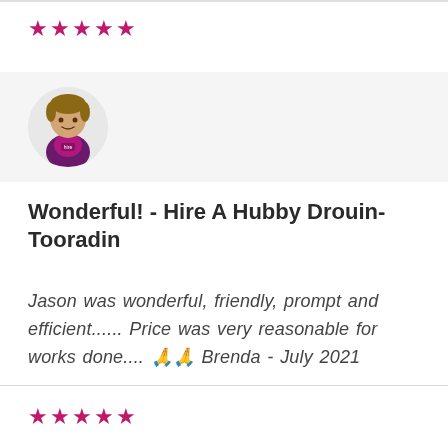★★★★★ (5 stars, top)
[Figure (illustration): Circular avatar of a person wearing a purple/magenta uniform with a company logo]
Wonderful! - Hire A Hubby Drouin-Tooradin
Jason was wonderful, friendly, prompt and efficient...... Price was very reasonable for works done.... 🙏🙏 Brenda - July 2021
★★★★★ (5 stars, bottom)